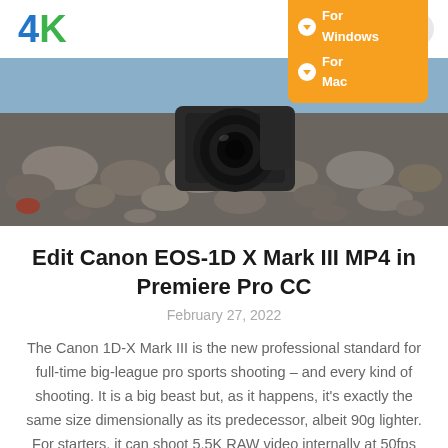4K
[Figure (photo): Close-up photo of a Canon DSLR camera lens resting on pebbles/rocks near water, hero image for article about Canon EOS-1D X Mark III]
Edit Canon EOS-1D X Mark III MP4 in Premiere Pro CC
February 27, 2022
The Canon 1D-X Mark III is the new professional standard for full-time big-league pro sports shooting – and every kind of shooting. It is a big beast but, as it happens, it's exactly the same size dimensionally as its predecessor, albeit 90g lighter. For starters, it can shoot 5.5K RAW video internally at 50fps using…